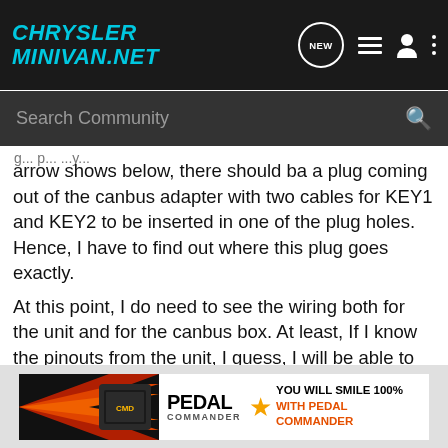ChryslerMinivan.net
Search Community
arrow shows below, there should ba a plug coming out of the canbus adapter with two cables for KEY1 and KEY2 to be inserted in one of the plug holes. Hence, I have to find out where this plug goes exactly.
At this point, I do need to see the wiring both for the unit and for the canbus box. At least, If I know the pinouts from the unit, I guess, I will be able to retain SWC. There are too many brands but no diagram I've met by the time...
[Figure (illustration): Pedal Commander advertisement with orange graphic arrows, a product device image, Pedal Commander logo with star, and text 'YOU WILL SMILE 100% WITH PEDAL COMMANDER']